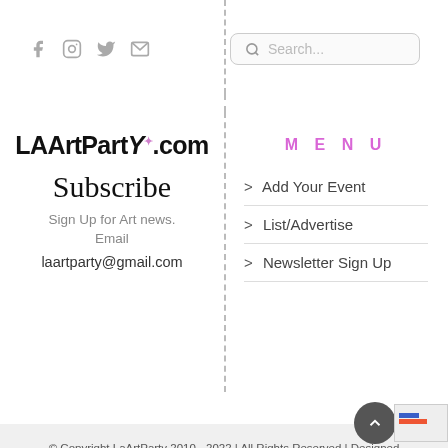[Figure (infographic): Social media icons: Facebook, Instagram, Twitter, Email]
[Figure (screenshot): Search box with magnifying glass icon and placeholder text 'Search...']
LAArtParty.com
Subscribe
Sign Up for Art news.
Email
laartparty@gmail.com
MENU
> Add Your Event
> List/Advertise
> Newsletter Sign Up
© Copyright LaArtParty 2010 - 2022 | All Rights Reserved | Designed